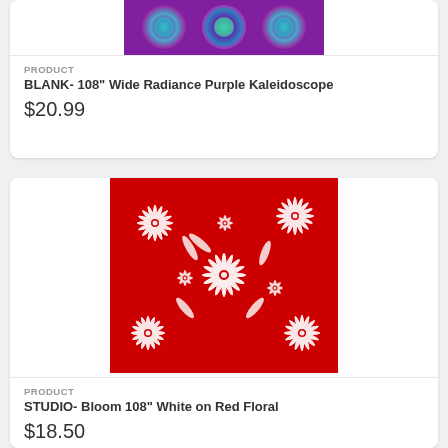[Figure (photo): Colorful purple and teal kaleidoscope fabric pattern image at top of first product card]
PRODUCT
BLANK- 108" Wide Radiance Purple Kaleidoscope
$20.99
[Figure (photo): Red fabric with white floral and chrysanthemum pattern – Bloom 108" White on Red Floral]
PRODUCT
STUDIO- Bloom 108" White on Red Floral
$18.50